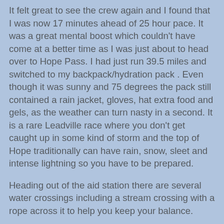It felt great to see the crew again and I found that I was now 17 minutes ahead of 25 hour pace. It was a great mental boost which couldn't have come at a better time as I was just about to head over to Hope Pass. I had just run 39.5 miles and switched to my backpack/hydration pack . Even though it was sunny and 75 degrees the pack still contained a rain jacket, gloves, hat extra food and gels, as the weather can turn nasty in a second. It is a rare Leadville race where you don't get caught up in some kind of storm and the top of Hope traditionally can have rain, snow, sleet and intense lightning so you have to be prepared.
Heading out of the aid station there are several water crossings including a stream crossing with a rope across it to help you keep your balance.
[Figure (photo): Photo of people wading through a river or stream with mountains and forest in the background under a partly cloudy sky.]